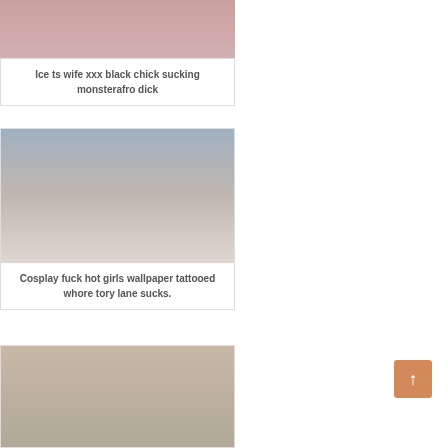[Figure (photo): Partial photo of a person in pink clothing, cropped at top]
Ice ts wife xxx black chick sucking monsterafro dick
[Figure (photo): Photo of two people on a bed]
Cosplay fuck hot girls wallpaper tattooed whore tory lane sucks.
[Figure (photo): Photo of a nude person crouching on a wooden floor wearing grey socks]